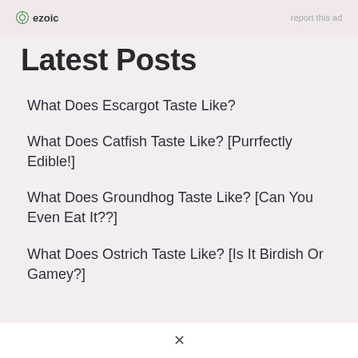ezoic    report this ad
Latest Posts
What Does Escargot Taste Like?
What Does Catfish Taste Like? [Purrfectly Edible!]
What Does Groundhog Taste Like? [Can You Even Eat It??]
What Does Ostrich Taste Like? [Is It Birdish Or Gamey?]
×